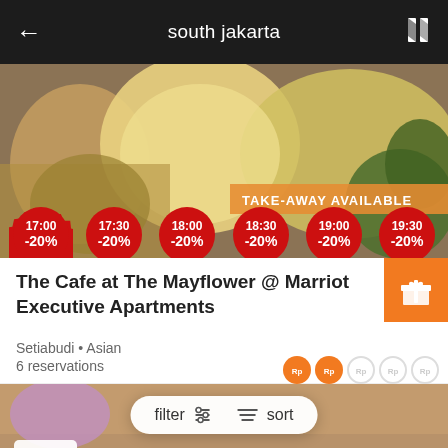south jakarta
[Figure (screenshot): Food image with take-away available banner and time/discount badges: 17:00 -20%, 17:30 -20%, 18:00 -20%, 18:30 -20%, 19:00 -20%, 19:30 -20%]
The Cafe at The Mayflower @ Marriot Executive Apartments
Setiabudi • Asian
6 reservations
[Figure (screenshot): Food image with 4.0 star rating badge, take-away available banner, and time/discount badges starting: 17:00, 17:30, 18:00, 18:30, 19:00, 19:30]
filter  sort